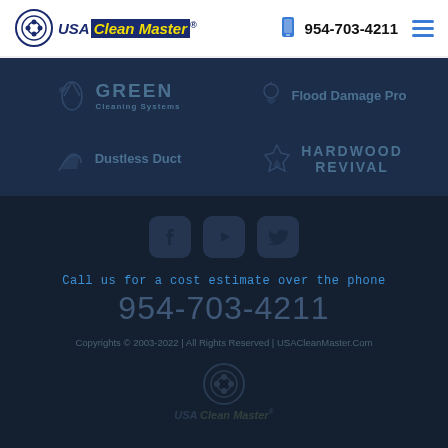[Figure (logo): USA Clean Master logo with circular emblem]
954-703-4211
[Figure (infographic): Partner brand logos: GREEN Cleaning Systems, Flood Damage Pro, Dustless Duct, Hardwood Revival on dark navy background]
[Figure (infographic): Social media icons: Facebook, YouTube/Play, Twitter buttons]
Call us for a cost estimate over the phone
954-703-4211
Copyrights © 2003-2022 | All Rights Reserved | USACleanMaster.Com
[Figure (logo): USA Clean Master footer logo]